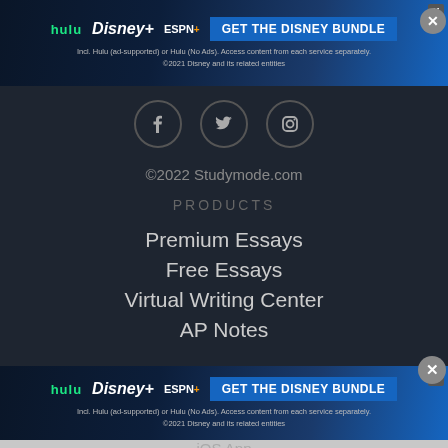[Figure (screenshot): Disney Bundle advertisement banner at top with Hulu, Disney+, ESPN+ logos and GET THE DISNEY BUNDLE button]
[Figure (illustration): Social media icons: Facebook, Twitter, Instagram in circular borders]
©2022 Studymode.com
PRODUCTS
Premium Essays
Free Essays
Virtual Writing Center
AP Notes
[Figure (screenshot): Disney Bundle advertisement banner at bottom with Hulu, Disney+, ESPN+ logos and GET THE DISNEY BUNDLE button]
iOS App